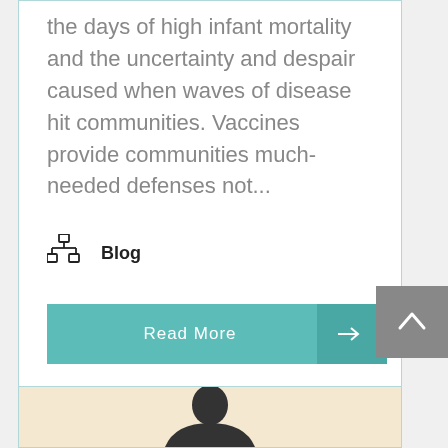the days of high infant mortality and the uncertainty and despair caused when waves of disease hit communities. Vaccines provide communities much-needed defenses not...
Blog
Read More →
[Figure (photo): Scroll-to-top button (dark grey square with white upward chevron arrow)]
[Figure (photo): Bottom of a new card showing a person's head/shoulders photo on a tan/cream background]